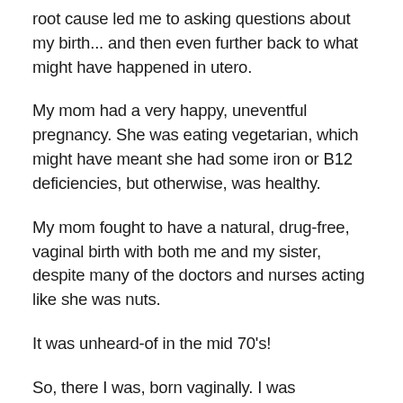root cause led me to asking questions about my birth... and then even further back to what might have happened in utero.
My mom had a very happy, uneventful pregnancy. She was eating vegetarian, which might have meant she had some iron or B12 deficiencies, but otherwise, was healthy.
My mom fought to have a natural, drug-free, vaginal birth with both me and my sister, despite many of the doctors and nurses acting like she was nuts.
It was unheard-of in the mid 70's!
So, there I was, born vaginally. I was